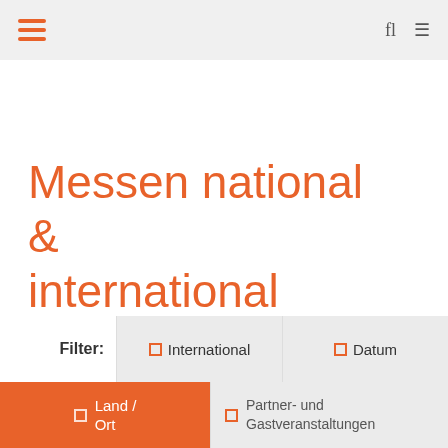Navigation bar with hamburger menu, search and menu icons
Messen national & international
Filter: International | Datum
Land / Ort | Partner- und Gastveranstaltungen